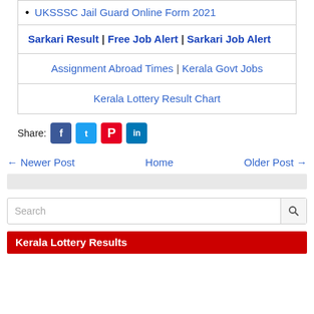UKSSSC Jail Guard Online Form 2021
Sarkari Result | Free Job Alert | Sarkari Job Alert
Assignment Abroad Times | Kerala Govt Jobs
Kerala Lottery Result Chart
Share:
← Newer Post    Home    Older Post →
Search
Kerala Lottery Results